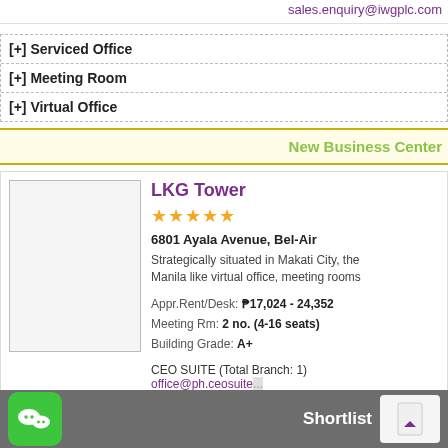sales.enquiry@iwgplc.com
[+] Serviced Office
[+] Meeting Room
[+] Virtual Office
New Business Center
LKG Tower
★★★★★
6801 Ayala Avenue, Bel-Air
Strategically situated in Makati City, the Manila like virtual office, meeting rooms
Appr.Rent/Desk: ₱17,024 - 24,352
Meeting Rm: 2 no. (4-16 seats)
Building Grade: A+
CEO SUITE (Total Branch: 1)
office@ph.ceosuite.com
Shortlist